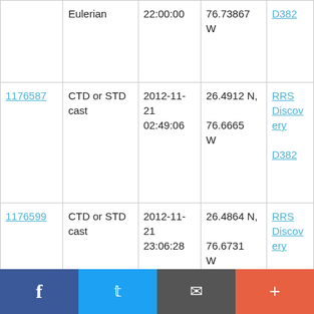| ID | Type | Date/Time | Location | Ship |
| --- | --- | --- | --- | --- |
|  | Eulerian | 22:00:00 | 76.73867 W | D382 |
| 1176587 | CTD or STD cast | 2012-11-21 02:49:06 | 26.4912 N, 76.6665 W | RRS Discovery D382 |
| 1176599 | CTD or STD cast | 2012-11-21 23:06:28 | 26.4864 N, 76.6731 W | RRS Discovery D382 |
| 1363179 | Currents - subsurface Eulerian | 2012-11-22 17:00:00 | 26.48567 N, 76.62933 W | RRS Discovery D382 |